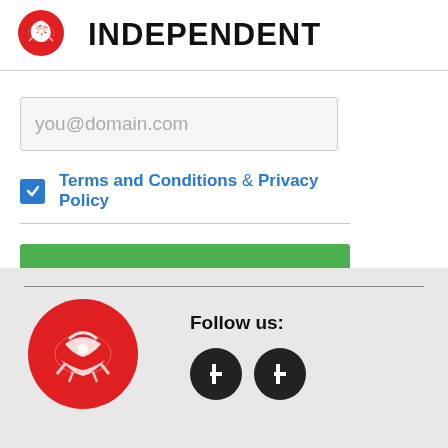[Figure (logo): The Independent newspaper logo — red circle with eagle icon, followed by bold text INDEPENDENT]
you@domain.com
Terms and Conditions & Privacy Policy
Sign up
[Figure (logo): The Independent red circle eagle logo (large) in the footer]
Follow us:
[Figure (other): Two dark circular social media icons (Facebook and Twitter/X)]